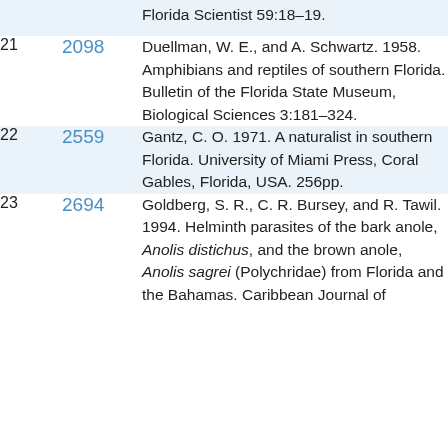Florida Scientist 59:18–19.
21  2098  Duellman, W. E., and A. Schwartz. 1958. Amphibians and reptiles of southern Florida. Bulletin of the Florida State Museum, Biological Sciences 3:181–324.
22  2559  Gantz, C. O. 1971. A naturalist in southern Florida. University of Miami Press, Coral Gables, Florida, USA. 256pp.
23  2694  Goldberg, S. R., C. R. Bursey, and R. Tawil. 1994. Helminth parasites of the bark anole, Anolis distichus, and the brown anole, Anolis sagrei (Polychridae) from Florida and the Bahamas. Caribbean Journal of